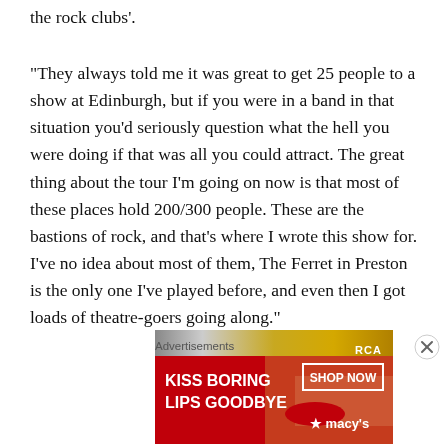the rock clubs'.
“They always told me it was great to get 25 people to a show at Edinburgh, but if you were in a band in that situation you’d seriously question what the hell you were doing if that was all you could attract. The great thing about the tour I’m going on now is that most of these places hold 200/300 people. These are the bastions of rock, and that’s where I wrote this show for. I’ve no idea about most of them, The Ferret in Preston is the only one I’ve played before, and even then I got loads of theatre-goers going along.”
[Figure (other): Partial image strip at bottom of article, appearing to be album artwork or promotional image with RCA badge]
Advertisements
[Figure (other): Advertisement banner: KISS BORING LIPS GOODBYE - SHOP NOW - macy's (red background with woman's face)]